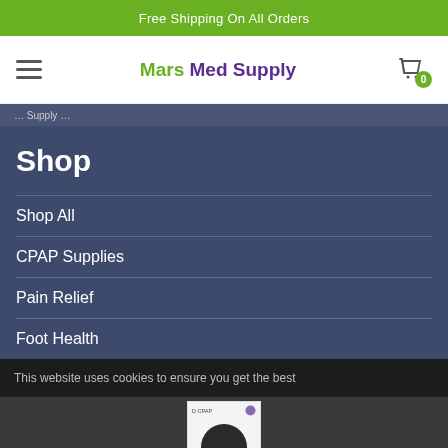Free Shipping On All Orders
[Figure (logo): Mars Med Supply logo with hamburger menu and shopping cart icon showing 0 items]
... Supply ...
Shop
Shop All
CPAP Supplies
Pain Relief
Foot Health
This website uses cookies to ensure you get the best
[Figure (photo): Product image showing a dark circular pad or disc medical product]